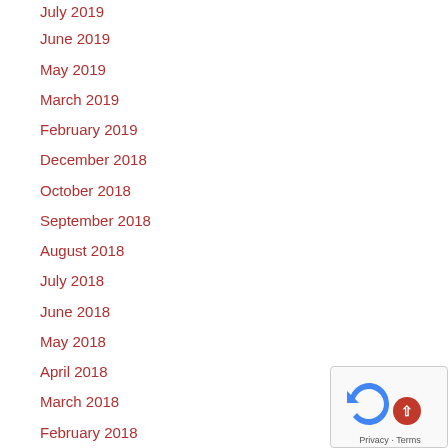July 2019
June 2019
May 2019
March 2019
February 2019
December 2018
October 2018
September 2018
August 2018
July 2018
June 2018
May 2018
April 2018
March 2018
February 2018
January 2018
November 2017